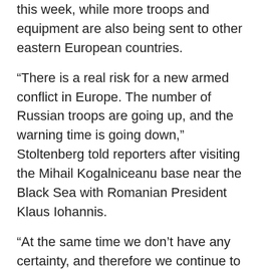this week, while more troops and equipment are also being sent to other eastern European countries.
“There is a real risk for a new armed conflict in Europe. The number of Russian troops are going up, and the warning time is going down,” Stoltenberg told reporters after visiting the Mihail Kogalniceanu base near the Black Sea with Romanian President Klaus Iohannis.
“At the same time we don’t have any certainty, and therefore we continue to reach out to Russia to call on them to deescalate and to engage in good faith in political dialogue with NATO and NATO allies,” he added.
US President Joe Biden announced last week that he was sending 1,000 soldiers to Romania and 2,000 to Poland.